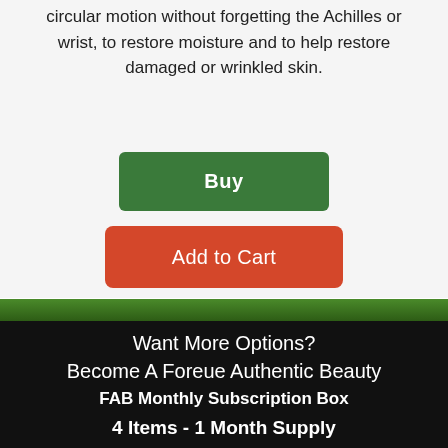circular motion without forgetting the Achilles or wrist, to restore moisture and to help restore damaged or wrinkled skin.
Buy
Add to Cart
Want More Options?
Become A Foreue Authentic Beauty
FAB Monthly Subscription Box
4 Items - 1 Month Supply